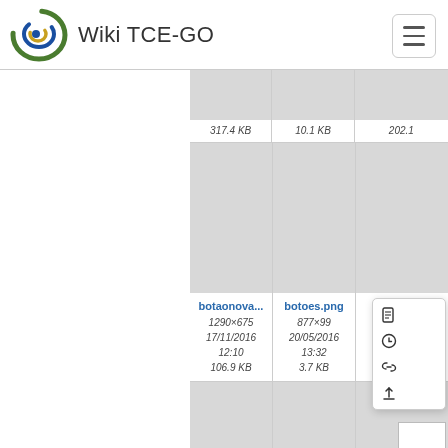Wiki TCE-GO
[Figure (screenshot): Wiki TCE-GO file browser grid showing image thumbnails with filenames botaonova..., botoes.png, cadastr..., cadastram..., cadastram..., cadastr... and a context menu overlay with icons for document, history, link, and upload actions.]